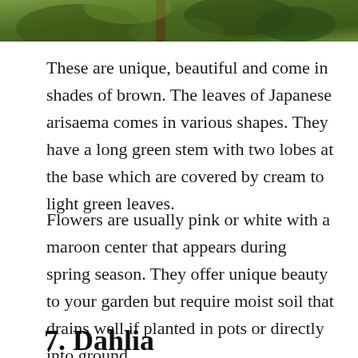[Figure (photo): Partial view of a plant with green leaves and brown stem against a green background]
These are unique, beautiful and come in shades of brown. The leaves of Japanese arisaema comes in various shapes. They have a long green stem with two lobes at the base which are covered by cream to light green leaves.
Flowers are usually pink or white with a maroon center that appears during spring season. They offer unique beauty to your garden but require moist soil that drains well if planted in pots or directly into ground.
7. Dahlia